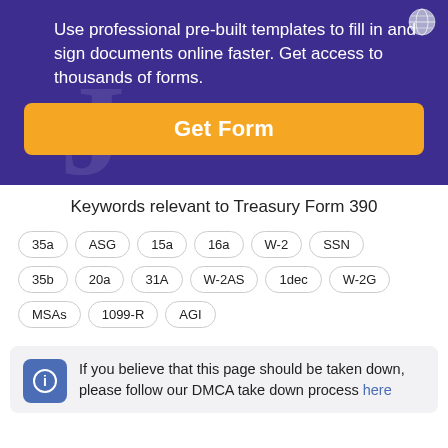Use professional pre-built templates to fill in and sign documents online faster. Get access to thousands of forms.
Get Form
Keywords relevant to Treasury Form 390
35a
ASG
15a
16a
W-2
SSN
35b
20a
31A
W-2AS
1dec
W-2G
MSAs
1099-R
AGI
If you believe that this page should be taken down, please follow our DMCA take down process here